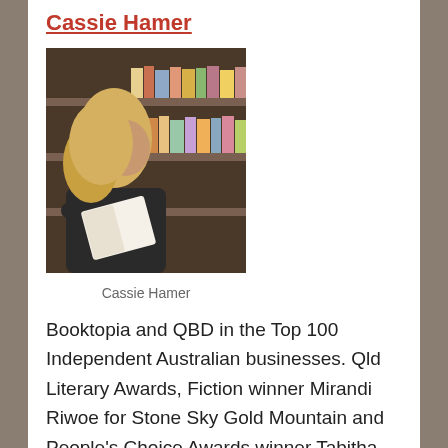Cassie Hamer
[Figure (photo): Woman with blonde hair reading a book in front of colourful bookshelves in a bookshop, wearing a dark top.]
Cassie Hamer
Booktopia and QBD in the Top 100 Independent Australian businesses. Qld Literary Awards, Fiction winner Mirandi Riwoe for Stone Sky Gold Mountain and People's Choice Awards winner Tabitha Bird for A Lifetime Of Impossible Days, congratulations.